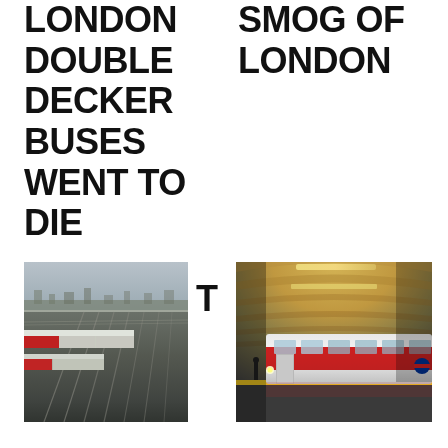LONDON DOUBLE DECKER BUSES WENT TO DIE
SMOG OF LONDON
T
[Figure (photo): Aerial view of London train yards with multiple railway tracks and trains]
[Figure (photo): London Underground tube station interior showing a red tube train alongside the platform with arched ceiling]